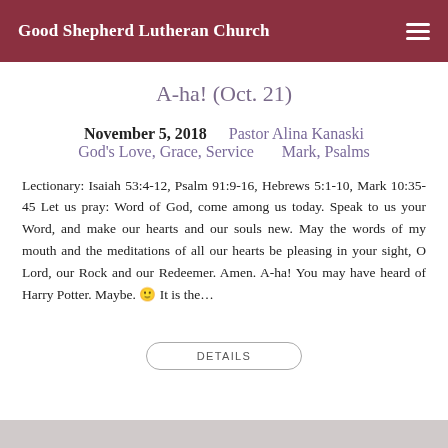Good Shepherd Lutheran Church
A-ha! (Oct. 21)
November 5, 2018   Pastor Alina Kanaski
God's Love, Grace, Service   Mark, Psalms
Lectionary: Isaiah 53:4-12, Psalm 91:9-16, Hebrews 5:1-10, Mark 10:35-45 Let us pray: Word of God, come among us today. Speak to us your Word, and make our hearts and our souls new. May the words of my mouth and the meditations of all our hearts be pleasing in your sight, O Lord, our Rock and our Redeemer. Amen. A-ha! You may have heard of Harry Potter. Maybe. 🙂 It is the...
DETAILS